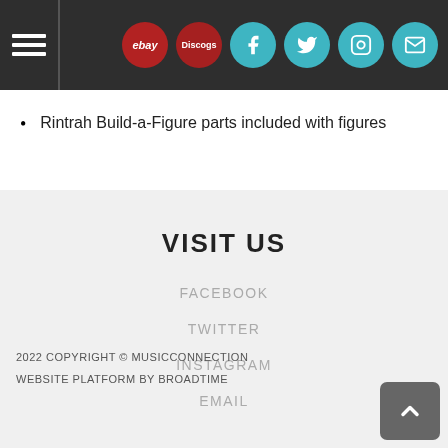Navigation header with hamburger menu and social icons: ebay, Discogs, Facebook, Twitter, Instagram, Email
Rintrah Build-a-Figure parts included with figures
VISIT US
FACEBOOK
TWITTER
INSTAGRAM
EMAIL
2022 COPYRIGHT © MUSICCONNECTION
WEBSITE PLATFORM BY BROADTIME